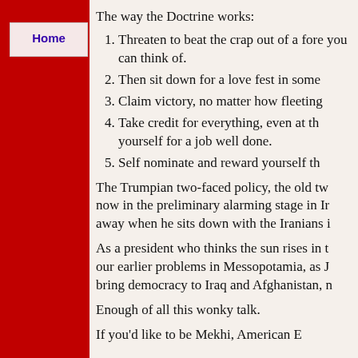The way the Doctrine works:
Threaten to beat the crap out of a fore you can think of.
Then sit down for a love fest in some
Claim victory, no matter how fleeting
Take credit for everything, even at the yourself for a job well done.
Self nominate and reward yourself th
The Trumpian two-faced policy, the old tw now in the preliminary alarming stage in Ir away when he sits down with the Iranians i
As a president who thinks the sun rises in t our earlier problems in Messopotamia, as J bring democracy to Iraq and Afghanistan, n
Enough of all this wonky talk.
If you'd like to be Mekhi, American E